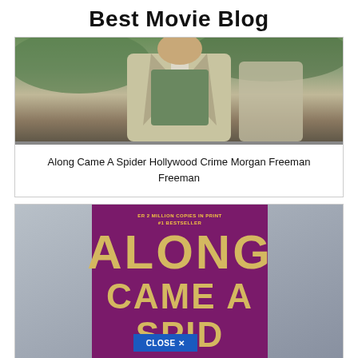Best Movie Blog
[Figure (photo): A man in a beige trench coat outdoors, movie still from Along Came A Spider]
Along Came A Spider Hollywood Crime Morgan Freeman Freeman
[Figure (photo): Book cover of 'Along Came A Spider' by James Patterson with gold lettering on purple background, with a 'CLOSE X' button overlay]